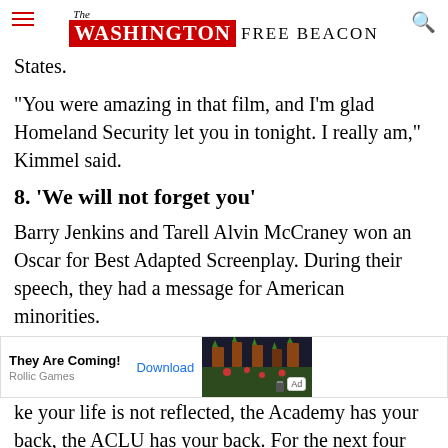The Washington Free Beacon
States.
"You were amazing in that film, and I'm glad Homeland Security let you in tonight. I really am," Kimmel said.
8. 'We will not forget you'
Barry Jenkins and Tarell Alvin McCraney won an Oscar for Best Adapted Screenplay. During their speech, they had a message for American minorities.
[Figure (other): Advertisement banner: They Are Coming! by Rollic Games with Download button and game screenshot]
ke your life is not reflected, the Academy has your back, the ACLU has your back. For the next four years we